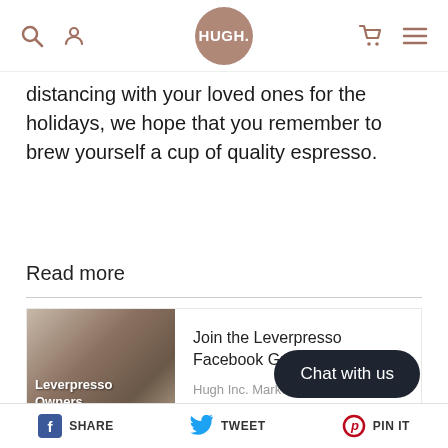HUGH.
distancing with your loved ones for the holidays, we hope that you remember to brew yourself a cup of quality espresso.
Read more
[Figure (photo): Coffee table scene with plant, moka pot and cups. Overlay text reads: Leverpresso Owners]
Join the Leverpresso Facebook Group!
Hugh Inc. Marketing
SHARE  TWEET  PIN IT